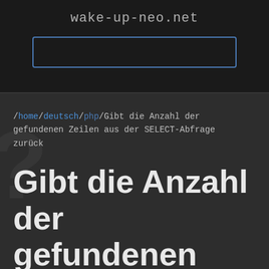wake-up-neo.net
/home/deutsch/php/Gibt die Anzahl der gefundenen Zeilen aus der SELECT-Abfrage zurück
Gibt die Anzahl der gefundenen Zeilen aus der SELECT-Abfrage zurück